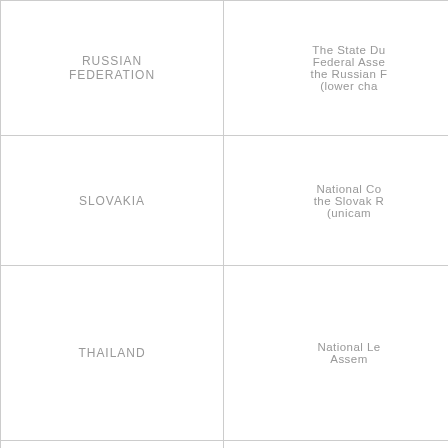| Country | Parliament/Chamber Name |
| --- | --- |
| RUSSIAN FEDERATION | The State Du Federal Asse the Russian F (lower cha |
| SLOVAKIA | National Co the Slovak R (unicam |
| THAILAND | National Le Assem |
| THE REPUBLIC OF THE UNION OF MYANMAR | House Represent |
| TURKMENISTAN |  |
| VIETNAM |  |